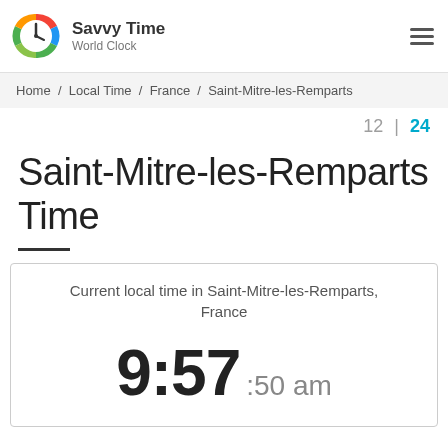[Figure (logo): Savvy Time World Clock logo with a colorful circular clock icon]
Home / Local Time / France / Saint-Mitre-les-Remparts
12 | 24
Saint-Mitre-les-Remparts Time
Current local time in Saint-Mitre-les-Remparts, France
9:57 :50 am